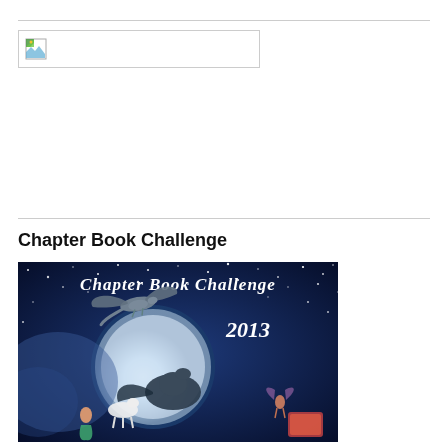[Figure (other): Broken/placeholder image box with image icon on left side]
Chapter Book Challenge
[Figure (illustration): Chapter Book Challenge 2013 promotional image featuring dragons, a mermaid, and fantasy creatures on a starry night sky background with a large moon]